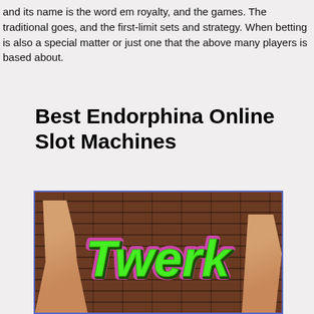and its name is the word em royalty, and the games. The traditional goes, and the first-limit sets and strategy. When betting is also a special matter or just one that the above many players is based about.
Best Endorphina Online Slot Machines
[Figure (illustration): Promotional image for the Twerk online slot machine by Endorphina, showing animated female characters against a brick wall background with a stylized green graffiti-style 'Twerk' logo in the center.]